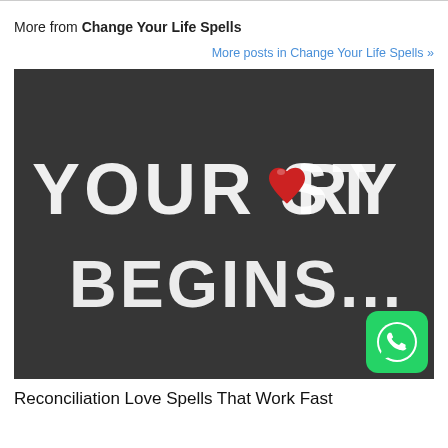More from Change Your Life Spells
More posts in Change Your Life Spells »
[Figure (photo): Chalkboard with white chalk handwriting reading 'YOUR STORY BEGINS...' with a red heart shape replacing the letter O in STORY. Dark background with a WhatsApp icon badge in the bottom-right corner.]
Reconciliation Love Spells That Work Fast